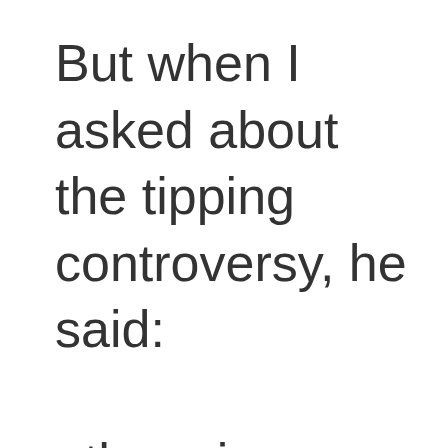But when I asked about the tipping controversy, he said:  there is no need to tip! We never